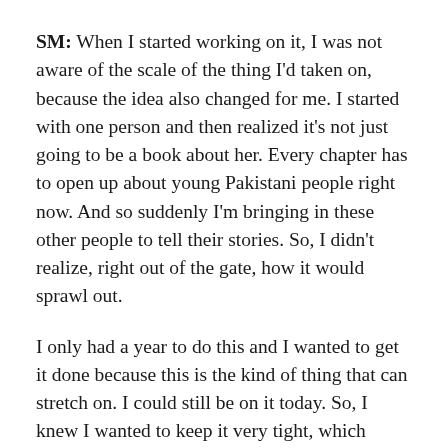SM: When I started working on it, I was not aware of the scale of the thing I'd taken on, because the idea also changed for me. I started with one person and then realized it's not just going to be a book about her. Every chapter has to open up about young Pakistani people right now. And so suddenly I'm bringing in these other people to tell their stories. So, I didn't realize, right out of the gate, how it would sprawl out.
I only had a year to do this and I wanted to get it done because this is the kind of thing that can stretch on. I could still be on it today. So, I knew I wanted to keep it very tight, which meant the first four months I was interviewing about two hundred people. Then transcribing all of them. And then this was written in about three months. It took over my life completely, literally I would be brushing my teeth and going over a sentence, trying to figure out how to make it work.